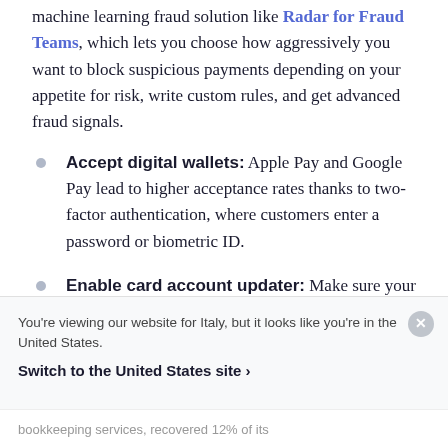machine learning fraud solution like Radar for Fraud Teams, which lets you choose how aggressively you want to block suspicious payments depending on your appetite for risk, write custom rules, and get advanced fraud signals.
Accept digital wallets: Apple Pay and Google Pay lead to higher acceptance rates thanks to two-factor authentication, where customers enter a password or biometric ID.
Enable card account updater: Make sure your payments provider or processor offers card
You're viewing our website for Italy, but it looks like you're in the United States.
Switch to the United States site ›
bookkeeping services, recovered 12% of its...